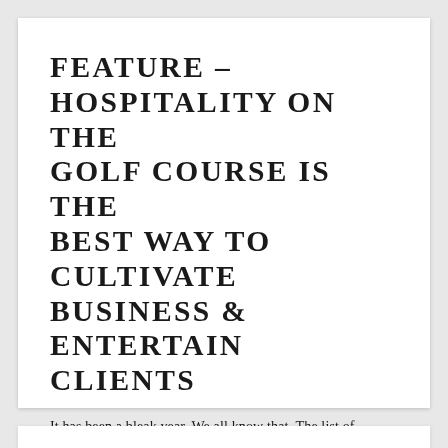FEATURE – HOSPITALITY ON THE GOLF COURSE IS THE BEST WAY TO CULTIVATE BUSINESS & ENTERTAIN CLIENTS
It has been a bleak year. We all know that. The list of downsides of lockdown is never-ending. Second to that though, is the detrimental
READ MORE »
March 18, 2021